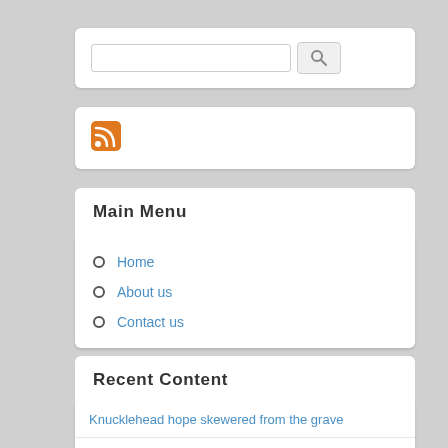[Figure (other): Search input box with magnifying glass search button]
[Figure (other): RSS feed icon (orange square with white wifi-style signal waves)]
Main Menu
Home
About us
Contact us
Recent Content
Knucklehead hope skewered from the grave
The Sucker and the Citizen